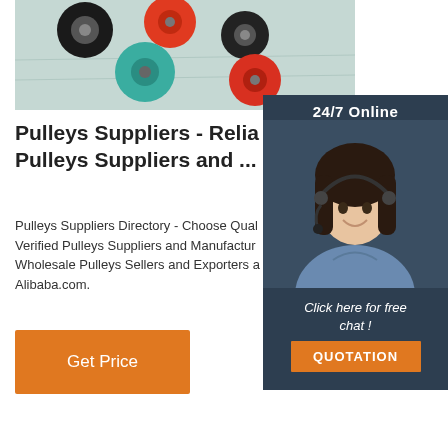[Figure (photo): Product photo showing colorful plastic bearing wheels/pulleys (black, red/orange, teal) on a light surface]
[Figure (photo): 24/7 Online customer service panel with a female agent wearing a headset, with 'Click here for free chat!' text and an orange QUOTATION button]
Pulleys Suppliers - Relia Pulleys Suppliers and ...
Pulleys Suppliers Directory - Choose Qual Verified Pulleys Suppliers and Manufactur Wholesale Pulleys Sellers and Exporters a Alibaba.com.
Get Price